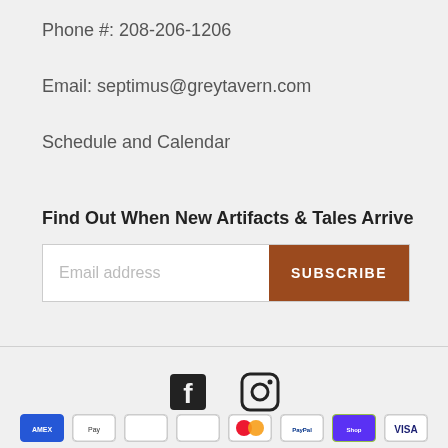Phone #: 208-206-1206
Email: septimus@greytavern.com
Schedule and Calendar
Find Out When New Artifacts & Tales Arrive
Email address  SUBSCRIBE
[Figure (infographic): Facebook and Instagram social media icons]
[Figure (infographic): Payment method icons row: American Express, Apple Pay, generic card, Mastercard, PayPal, Shop Pay, Visa]